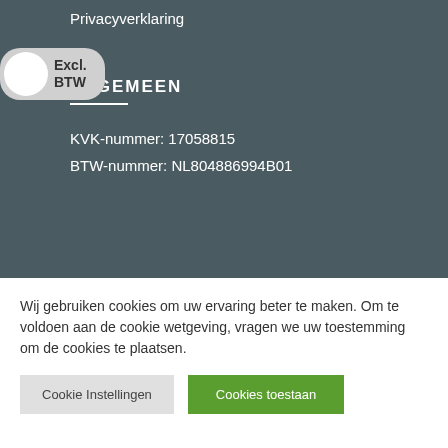Privacyverklaring
Excl. BTW
ALGEMEEN
KVK-nummer: 17058815
BTW-nummer: NL804886994B01
Wij gebruiken cookies om uw ervaring beter te maken. Om te voldoen aan de cookie wetgeving, vragen we uw toestemming om de cookies te plaatsen.
Cookie Instellingen
Cookies toestaan